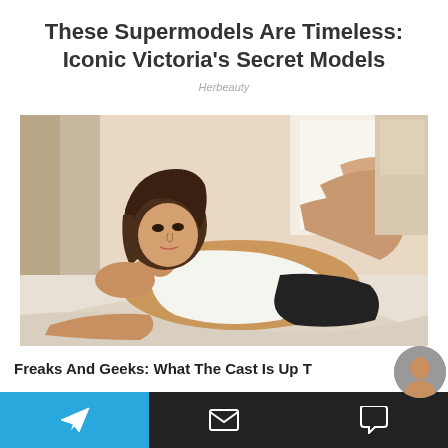These Supermodels Are Timeless: Iconic Victoria's Secret Models
Herbeauty
[Figure (photo): A young woman with brown wavy hair lying on a bed wearing a white tank top and black underwear, looking at the camera, with a bright window in the background.]
Freaks And Geeks: What The Cast Is Up T…